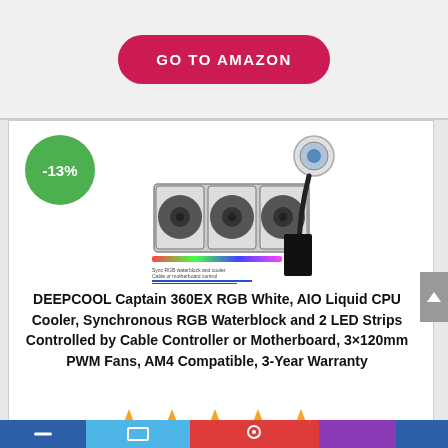[Figure (other): GO TO AMAZON button - pink/red pill-shaped button]
[Figure (photo): DEEPCOOL Captain 360EX RGB White AIO liquid CPU cooler product photo showing triple 120mm fans on radiator with RGB elements]
-13%
DEEPCOOL Captain 360EX RGB White, AIO Liquid CPU Cooler, Synchronous RGB Waterblock and 2 LED Strips Controlled by Cable Controller or Motherboard, 3×120mm PWM Fans, AM4 Compatible, 3-Year Warranty
[Figure (other): 5 orange/gold star rating icons]